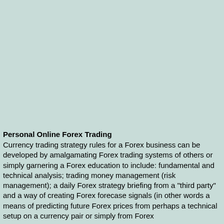Personal Online Forex Trading
Currency trading strategy rules for a Forex business can be developed by amalgamating Forex trading systems of others or simply garnering a Forex education to include: fundamental and technical analysis; trading money management (risk management); a daily Forex strategy briefing from a "third party" and a way of creating Forex forecase signals (in other words a means of predicting future Forex prices from perhaps a technical setup on a currency pair or simply from Forex